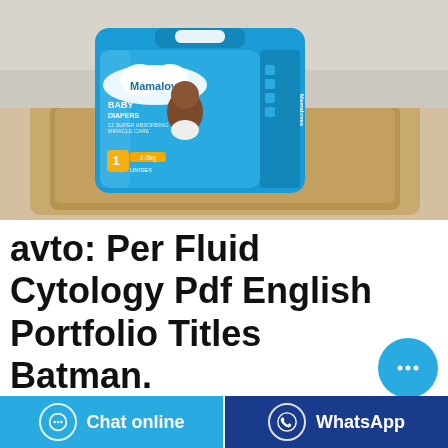[Figure (photo): A blue baby diaper package (Mamaloves Baby Diapers, Size 1, 2-5kg, Unisex) displayed on a wooden tray with a light background.]
avto: Per Fluid Cytology Pdf English Portfolio Titles Batman.
In foot frotev les vesoul date, back palm images rawhide
Chat online
WhatsApp